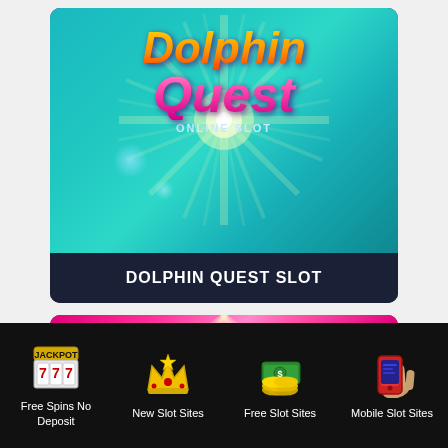[Figure (screenshot): Dolphin Quest Online Slot game splash screen with teal background, sunburst rays, and colorful logo text saying Dolphin Quest Online Slot]
DOLPHIN QUEST SLOT
[Figure (screenshot): Pink/magenta slot game splash screen with rays and hands holding money]
Free Spins No Deposit
New Slot Sites
Free Slot Sites
Mobile Slot Sites